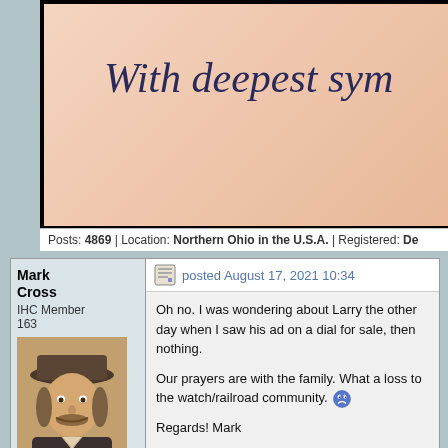[Figure (photo): Sympathy card image with text 'With deepest sym...' on a peach/pink background with decorative border]
Posts: 4869 | Location: Northern Ohio in the U.S.A. | Registered: De
Mark Cross
IHC Member
163
posted August 17, 2021 10:34
Oh no. I was wondering about Larry the other day when I saw his ad on a dial for sale, then nothing.
Our prayers are with the family. What a loss to the watch/railroad community.
Regards! Mark
Posts: 3815 | Location: Estill Springs, Tennessee, USA | Registered: December 02, 2002
Steven Ford
IHC Life Member
posted August 17, 2021 11:13
Rest in Peace, Larry.
You will be missed, by one and all, I'm sure.
I will be re-reading many of your posts.

Steve